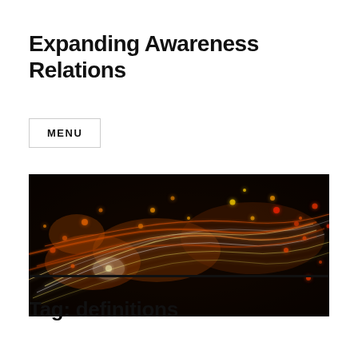Expanding Awareness Relations
MENU
[Figure (photo): Abstract dark background with glowing orange, red, yellow swirling light streaks and bokeh dots, resembling energy or neural activity]
Tag: definitions